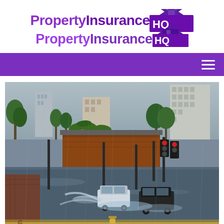PropertyInsuranceHQ
[Figure (photo): Flooded urban street with cars driving through deep floodwater during heavy rain. Brick building in background, palm trees, city buildings visible. Water splashing around vehicles. Aerial/elevated perspective.]